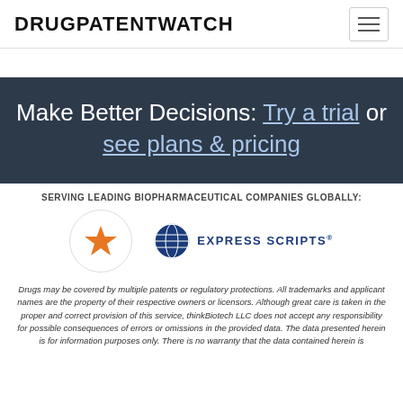DRUGPATENTWATCH
Make Better Decisions: Try a trial or see plans & pricing
SERVING LEADING BIOPHARMACEUTICAL COMPANIES GLOBALLY:
[Figure (logo): Orange star logo in a circle]
[Figure (logo): Express Scripts logo with globe icon and text EXPRESS SCRIPTS]
Drugs may be covered by multiple patents or regulatory protections. All trademarks and applicant names are the property of their respective owners or licensors. Although great care is taken in the proper and correct provision of this service, thinkBiotech LLC does not accept any responsibility for possible consequences of errors or omissions in the provided data. The data presented herein is for information purposes only. There is no warranty that the data contained herein is